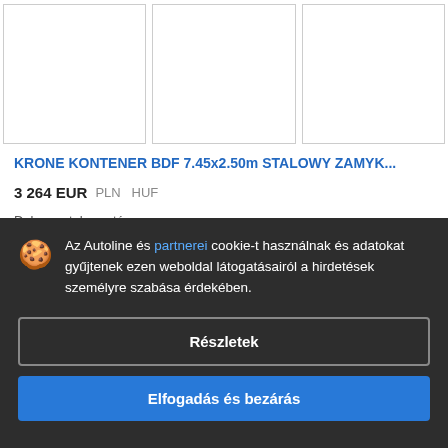[Figure (photo): Three white rectangular image placeholder boxes for product listing]
KRONE KONTENER BDF 7.45x2.50m STALOWY ZAMYK...
3 264 EUR   PLN   HUF
Dobozos teherautó
EV...7
Lengy...
Az Autoline és partnerei cookie-t használnak és adatokat gyűjtenek ezen weboldal látogatásairól a hirdetések személyre szabása érdekében.
Részletek
Elfogadás és bezárás